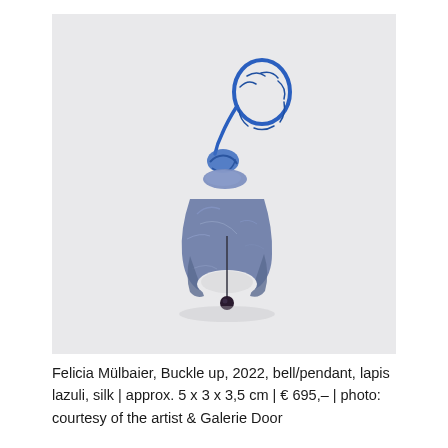[Figure (photo): A blue jewelry piece — a bell/pendant made of lapis lazuli and silk. The object features a rounded, open bell-like base made of blue-grey stone (lapis lazuli) with a small dark bead hanging inside. On top sits a blue silk braided loop/hanger. The background is light grey.]
Felicia Mülbaier, Buckle up, 2022, bell/pendant, lapis lazuli, silk | approx. 5 x 3 x 3,5 cm | € 695,– | photo: courtesy of the artist & Galerie Door